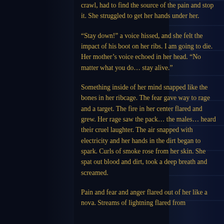crawl, had to find the source of the pain and stop it. She struggled to get her hands under her.
“Stay down!” a voice hissed, and she felt the impact of his boot on her ribs. I am going to die. Her mother’s voice echoed in her head. “No matter what you do… stay alive.”
Something inside of her mind snapped like the bones in her ribcage. The fear gave way to rage and a target. The fire in her center flared and grew. Her rage saw the pack… the males… heard their cruel laughter. The air snapped with electricity and her hands in the dirt began to spark. Curls of smoke rose from her skin. She spat out blood and dirt, took a deep breath and screamed.
Pain and fear and anger flared out of her like a nova. Streams of lightning flared from